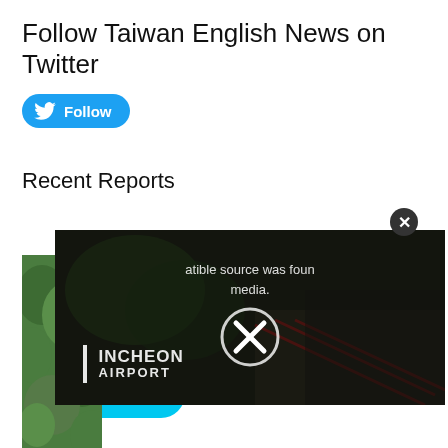Follow Taiwan English News on Twitter
[Figure (other): Twitter Follow button with bird logo on cyan/blue background]
Recent Reports
[Figure (screenshot): Video overlay showing Incheon Airport branding with error message 'compatible source was found for media.' and X close circle icon, overlaid on aerial/nature footage]
[Figure (other): Ko-fi 'Please tip' button in cyan with coffee cup icon]